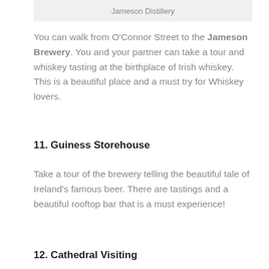Jameson Distillery
You can walk from O'Connor Street to the Jameson Brewery. You and your partner can take a tour and whiskey tasting at the birthplace of Irish whiskey. This is a beautiful place and a must try for Whiskey lovers.
11. Guiness Storehouse
Take a tour of the brewery telling the beautiful tale of Ireland's famous beer. There are tastings and a beautiful rooftop bar that is a must experience!
12. Cathedral Visiting